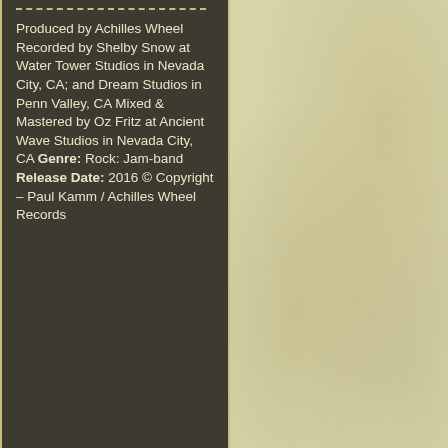Produced by Achilles Wheel Recorded by Shelby Snow at Water Tower Studios in Nevada City, CA; and Dream Studios in Penn Valley, CA Mixed & Mastered by Oz Fritz at Ancient Wave Studios in Nevada City, CA Genre: Rock: Jam-band Release Date: 2016 © Copyright – Paul Kamm / Achilles Wheel Records